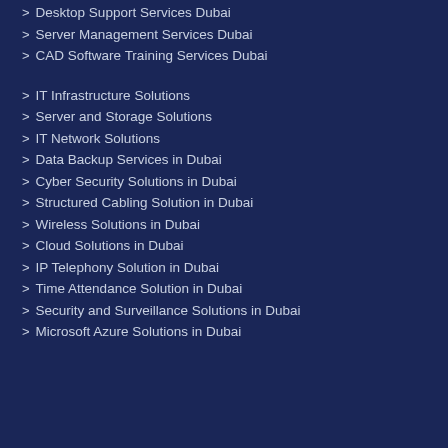> Desktop Support Services Dubai
> Server Management Services Dubai
> CAD Software Training Services Dubai
> IT Infrastructure Solutions
> Server and Storage Solutions
> IT Network Solutions
> Data Backup Services in Dubai
> Cyber Security Solutions in Dubai
> Structured Cabling Solution in Dubai
> Wireless Solutions in Dubai
> Cloud Solutions in Dubai
> IP Telephony Solution in Dubai
> Time Attendance Solution in Dubai
> Security and Surveillance Solutions in Dubai
> Microsoft Azure Solutions in Dubai